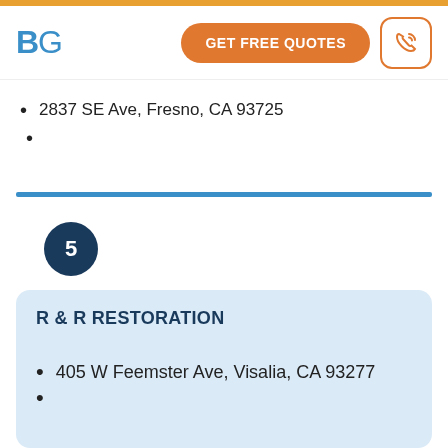BG
2837 SE Ave, Fresno, CA 93725
5
R & R RESTORATION
405 W Feemster Ave, Visalia, CA 93277